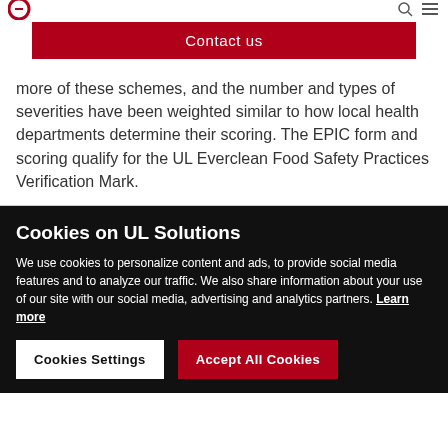[Figure (logo): UL Solutions logo (partial, red circular icon) in top left corner]
[Figure (other): Navigation icons (search and menu) in top right corner]
Contact us
more of these schemes, and the number and types of severities have been weighted similar to how local health departments determine their scoring. The EPIC form and scoring qualify for the UL Everclean Food Safety Practices Verification Mark.
Cookies on UL Solutions
We use cookies to personalize content and ads, to provide social media features and to analyze our traffic. We also share information about your use of our site with our social media, advertising and analytics partners. Learn more
Cookies Settings
Accept All Cookies